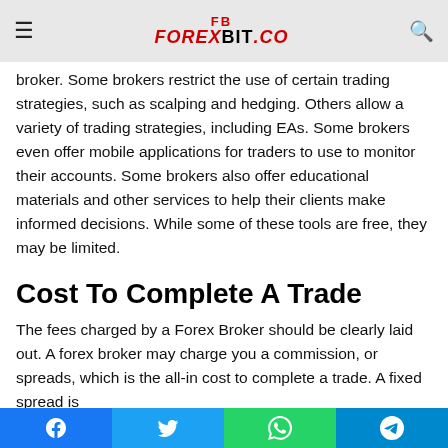FB FOREXBIT.CO
Trading Strategies
When ... consider the role of the broker. Some brokers restrict the use of certain trading strategies, such as scalping and hedging. Others allow a variety of trading strategies, including EAs. Some brokers even offer mobile applications for traders to use to monitor their accounts. Some brokers also offer educational materials and other services to help their clients make informed decisions. While some of these tools are free, they may be limited.
Cost To Complete A Trade
The fees charged by a Forex Broker should be clearly laid out. A forex broker may charge you a commission, or spreads, which is the all-in cost to complete a trade. A fixed spread is
Facebook Twitter WhatsApp Telegram